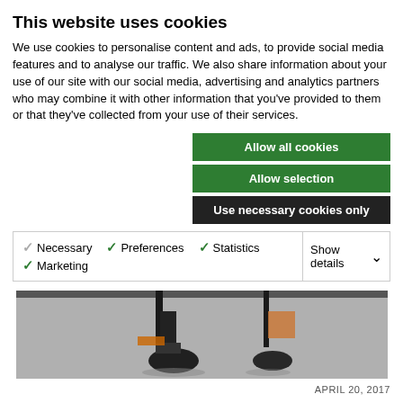This website uses cookies
We use cookies to personalise content and ads, to provide social media features and to analyse our traffic. We also share information about your use of our site with our social media, advertising and analytics partners who may combine it with other information that you've provided to them or that they've collected from your use of their services.
Allow all cookies
Allow selection
Use necessary cookies only
Necessary  Preferences  Statistics  Marketing  Show details
[Figure (photo): Photo of bicycles on a road, showing lower halves of cyclists riding on asphalt]
APRIL 20, 2017